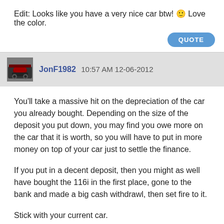Edit: Looks like you have a very nice car btw! 🙂 Love the color.
QUOTE
JonF1982 10:57 AM 12-06-2012
You'll take a massive hit on the depreciation of the car you already bought. Depending on the size of the deposit you put down, you may find you owe more on the car that it is worth, so you will have to put in more money on top of your car just to settle the finance.
If you put in a decent deposit, then you might as well have bought the 116i in the first place, gone to the bank and made a big cash withdrawl, then set fire to it.
Stick with your current car.